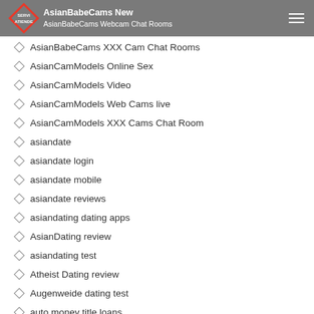AsianBabeCams New | AsianBabeCams Webcam Chat Rooms
AsianBabeCams XXX Cam Chat Rooms
AsianCamModels Online Sex
AsianCamModels Video
AsianCamModels Web Cams live
AsianCamModels XXX Cams Chat Room
asiandate
asiandate login
asiandate mobile
asiandate reviews
asiandating dating apps
AsianDating review
asiandating test
Atheist Dating review
Augenweide dating test
auto money title loans